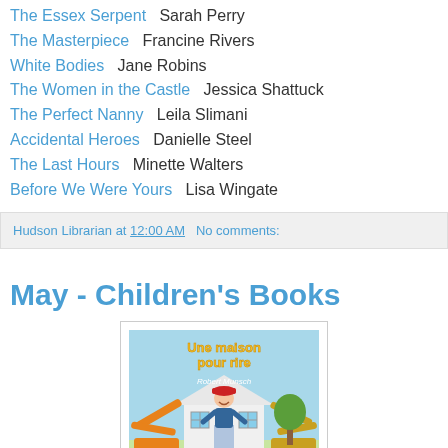The Essex Serpent    Sarah Perry
The Masterpiece    Francine Rivers
White Bodies    Jane Robins
The Women in the Castle    Jessica Shattuck
The Perfect Nanny    Leila Slimani
Accidental Heroes    Danielle Steel
The Last Hours    Minette Walters
Before We Were Yours    Lisa Wingate
Hudson Librarian at 12:00 AM    No comments:
May - Children's Books
[Figure (illustration): Book cover of 'Une maison pour rire' by Robert Munsch, showing a man in a hard hat with construction equipment and a house.]